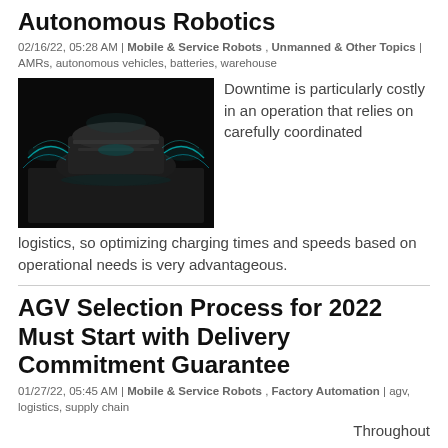Autonomous Robotics
02/16/22, 05:28 AM | Mobile & Service Robots , Unmanned & Other Topics | AMRs, autonomous vehicles, batteries, warehouse
[Figure (photo): Dark artistic photo of a futuristic autonomous robot/vehicle with teal glowing lights and smoke effects on a dark surface]
Downtime is particularly costly in an operation that relies on carefully coordinated logistics, so optimizing charging times and speeds based on operational needs is very advantageous.
AGV Selection Process for 2022 Must Start with Delivery Commitment Guarantee
01/27/22, 05:45 AM | Mobile & Service Robots , Factory Automation | agv, logistics, supply chain
Throughout